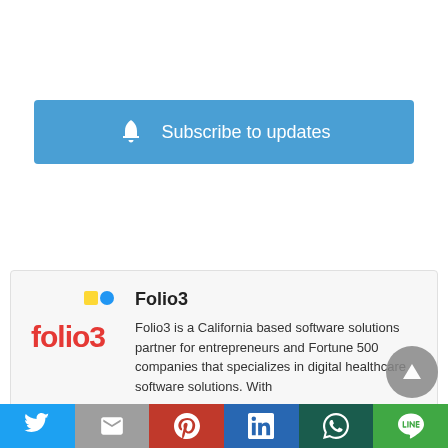[Figure (infographic): Blue 'Subscribe to updates' button with a white bell icon on the left]
[Figure (logo): Folio3 company logo — colorful text logo with red, blue, yellow, and green colors]
Folio3
Folio3 is a California based software solutions partner for entrepreneurs and Fortune 500 companies that specializes in digital healthcare software solutions. With over a decade of experience and expertise in the healthcare space, we have built groundbreaking digital transformation healthcare solutions for some of the world's leading healthcare companies. We have the necessary expertise and competency integral to the
[Figure (infographic): Social sharing bar at the bottom: Twitter (blue), Gmail (grey), Pinterest (red), LinkedIn (blue), WhatsApp (dark teal), LINE (green)]